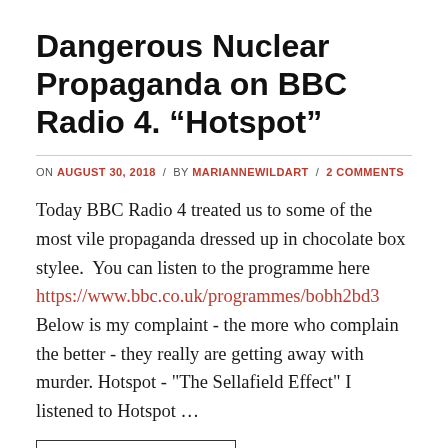Dangerous Nuclear Propaganda on BBC Radio 4. “Hotspot”
ON AUGUST 30, 2018 / BY MARIANNEWILDART / 2 COMMENTS
Today BBC Radio 4 treated us to some of the most vile propaganda dressed up in chocolate box stylee.  You can listen to the programme here https://www.bbc.co.uk/programmes/bobh2bd3 Below is my complaint - the more who complain the better - they really are getting away with murder. Hotspot - "The Sellafield Effect" I listened to Hotspot …
[Figure (other): Partial image visible at bottom of page, showing a rectangle outline]